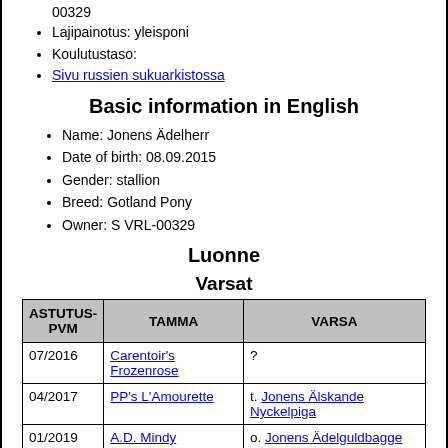00329
Lajipainotus: yleisponi
Koulutustaso:
Sivu russien sukuarkistossa
Basic information in English
Name: Jonens Ädelherr
Date of birth: 08.09.2015
Gender: stallion
Breed: Gotland Pony
Owner: S VRL-00329
Luonne
Varsat
| ASTUTUS-PVM | TAMMA | VARSA |
| --- | --- | --- |
| 07/2016 | Carentoir's Frozenrose | ? |
| 04/2017 | PP's L'Amourette | t. Jonens Älskande Nyckelpiga |
| 01/2019 | A.D. Mindy | o. Jonens Ädelguldbagge |